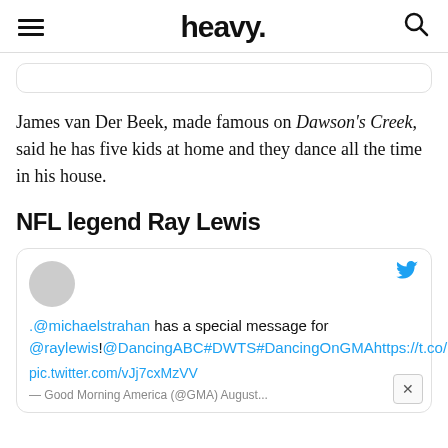heavy.
James van Der Beek, made famous on Dawson's Creek, said he has five kids at home and they dance all the time in his house.
NFL legend Ray Lewis
[Figure (screenshot): Embedded tweet card with Twitter bird logo, gray avatar circle, blue link text reading '.@michaelstrahan has a special message for @raylewis!@DancingABC#DWTS#DancingOnGMAhttps://t.co/BH4c0SpEMi', image link 'pic.twitter.com/vJj7cxMzVV', and partial source attribution 'Good Morning America (@GMA) August...']